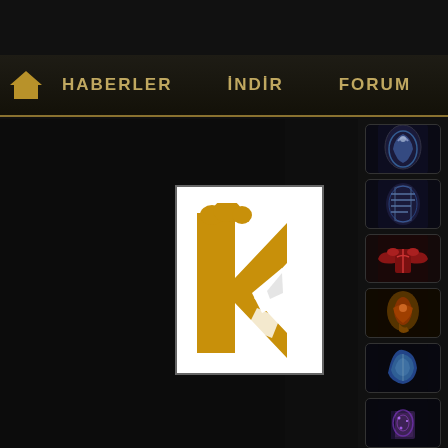HABERLER | İNDİR | FORUM
[Figure (screenshot): Dark themed website navigation with home icon, HABERLER, İNDİR, FORUM links]
[Figure (logo): Game/site logo: golden K-shaped figure with white broken piece on black background]
[Figure (screenshot): Sidebar with 6 game item icons: scroll with hand, scroll with writing, red armor/wings, shell item, blue shell item, purple book]